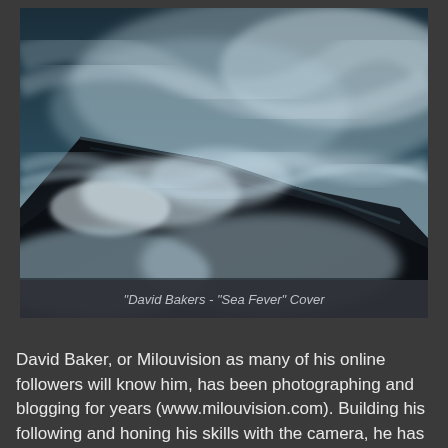[Figure (photo): Dramatic long-exposure ocean wave crashing over dark rocks, teal-blue tones, misty water motion blur]
"David Bakers - "Sea Fever" Cover
David Baker, or Milouvision as many of his online followers will know him, has been photographing and blogging for years (www.milouvision.com). Building his following and honing his skills with the camera, he has risen to real prominence over the